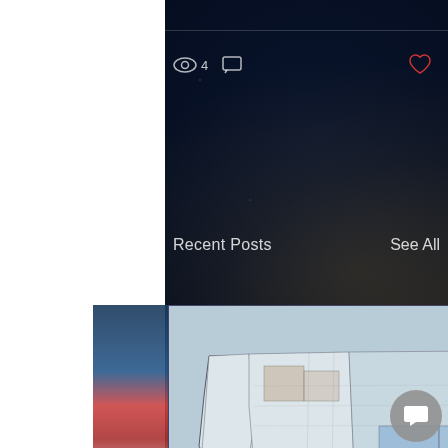Recent Posts   See All
[Figure (map): USA choropleth map showing logistics market data by county/region, with blue and tan/brown color coding across US states and counties. Color scale bar shown at bottom ranging from red/orange to blue.]
USA LOGISTICS MARKET ANALYSIS,...
Views: 4  Comments  ♡
Views: 7  Comments: 0  ♡